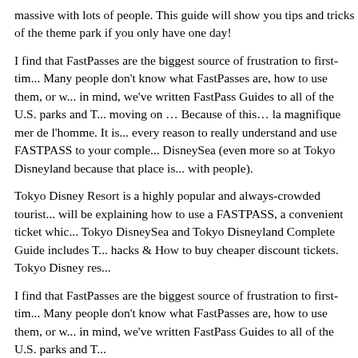massive with lots of people. This guide will show you tips and tricks of the theme park if you only have one day!
I find that FastPasses are the biggest source of frustration to first-tim... Many people don't know what FastPasses are, how to use them, or w... in mind, we've written FastPass Guides to all of the U.S. parks and T... moving on … Because of this… la magnifique mer de l'homme. It is... every reason to really understand and use FASTPASS to your comple... DisneySea (even more so at Tokyo Disneyland because that place is... with people).
Tokyo Disney Resort is a highly popular and always-crowded tourist... will be explaining how to use a FASTPASS, a convenient ticket whic... Tokyo DisneySea and Tokyo Disneyland Complete Guide includes T... hacks & How to buy cheaper discount tickets. Tokyo Disney res...
I find that FastPasses are the biggest source of frustration to first-tim... Many people don't know what FastPasses are, how to use them, or w... in mind, we've written FastPass Guides to all of the U.S. parks and T...